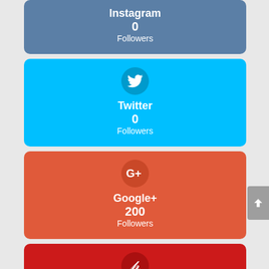[Figure (infographic): Instagram social media follower count card. Steel blue background, showing 0 Followers.]
[Figure (infographic): Twitter social media follower count card. Bright cyan/blue background with Twitter bird icon circle. Shows 0 Followers.]
[Figure (infographic): Google+ social media follower count card. Red-orange background with G+ icon circle. Shows 200 Followers.]
[Figure (infographic): Pinterest social media follower count card. Dark red background with Pinterest P icon circle. Shows 2.3k Followers.]